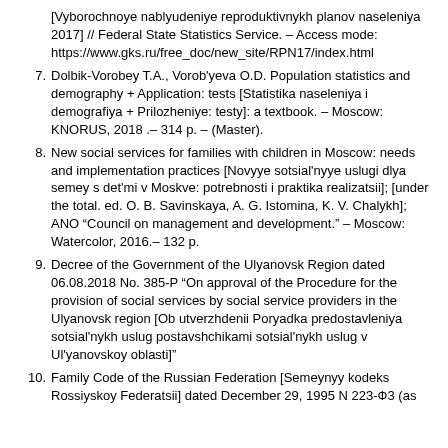[Vyborochnoye nablyudeniye reproduktivnykh planov naseleniya 2017] // Federal State Statistics Service. – Access mode: https://www.gks.ru/free_doc/new_site/RPN17/index.html
7. Dolbik-Vorobey T.A., Vorob'yeva O.D. Population statistics and demography + Application: tests [Statistika naseleniya i demografiya + Prilozheniye: testy]: a textbook. – Moscow: KNORUS, 2018 .– 314 p. – (Master).
8. New social services for families with children in Moscow: needs and implementation practices [Novyye sotsial'nyye uslugi dlya semey s det'mi v Moskve: potrebnosti i praktika realizatsii]; [under the total. ed. O. B. Savinskaya, A. G. Istomina, K. V. Chalykh]; ANO “Council on management and development.” – Moscow: Watercolor, 2016.– 132 p.
9. Decree of the Government of the Ulyanovsk Region dated 06.08.2018 No. 385-P “On approval of the Procedure for the provision of social services by social service providers in the Ulyanovsk region [Ob utverzhdenii Poryadka predostavleniya sotsial'nykh uslug postavshchikami sotsial'nykh uslug v Ul'yanovskoy oblasti]”
10. Family Code of the Russian Federation [Semeynyy kodeks Rossiyskoy Federatsii] dated December 29, 1995 N 223-Τ3 (as